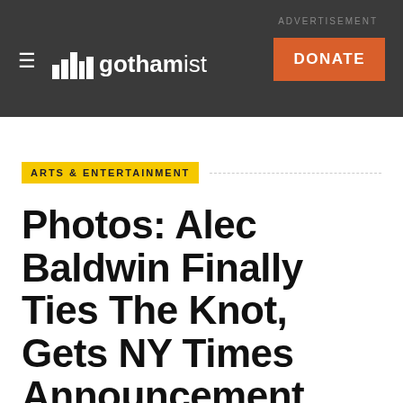ADVERTISEMENT
[Figure (logo): Gothamist logo with hamburger menu icon and city skyline icon, white on dark background, with orange DONATE button]
ARTS & ENTERTAINMENT
Photos: Alec Baldwin Finally Ties The Knot, Gets NY Times Announcement
BY BEN YAKAS